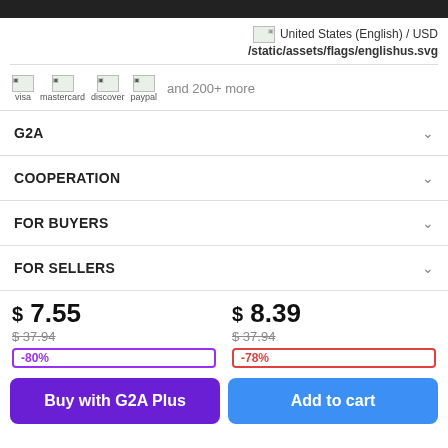United States (English) / USD
/static/assets/flags/englishus.svg
[Figure (other): Payment method icons: visa, mastercard, discover, paypal, and 200+ more]
G2A
COOPERATION
FOR BUYERS
FOR SELLERS
$ 7.55
$37.94
-80%
$ 8.39
$37.94
-78%
Buy with G2A Plus
Add to cart